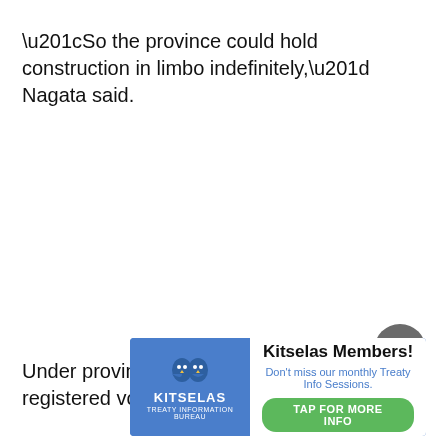“So the province could hold construction in limbo indefinitely,” Nagata said.
Under provincial legislation, for $50 any registered voter can
[Figure (other): Kitselas Members advertisement banner with logo, headline 'Kitselas Members!', subtext 'Don’t miss our monthly Treaty Info Sessions.', and a green 'TAP FOR MORE INFO' button]